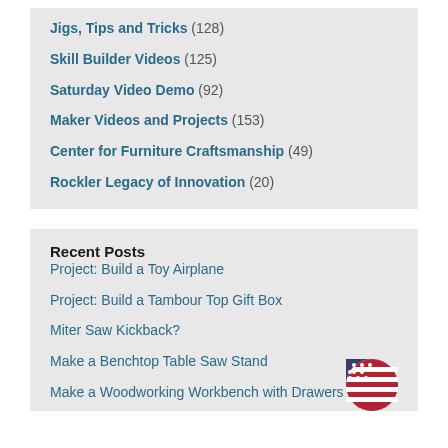Jigs, Tips and Tricks (128)
Skill Builder Videos (125)
Saturday Video Demo (92)
Maker Videos and Projects (153)
Center for Furniture Craftsmanship (49)
Rockler Legacy of Innovation (20)
Recent Posts
Project: Build a Toy Airplane
Project: Build a Tambour Top Gift Box
Miter Saw Kickback?
Make a Benchtop Table Saw Stand
Make a Woodworking Workbench with Drawers